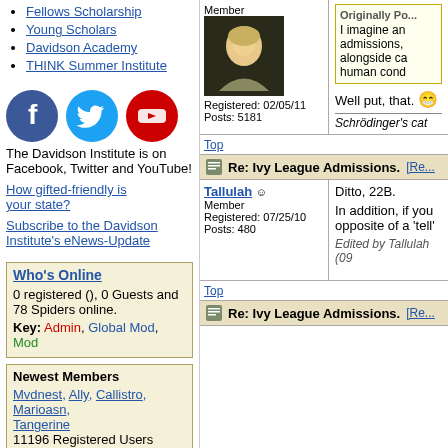Fellows Scholarship
Young Scholars
Davidson Academy
THINK Summer Institute
[Figure (logo): Facebook, Twitter, and YouTube social media icons]
The Davidson Institute is on Facebook, Twitter and YouTube!
How gifted-friendly is your state?
Subscribe to the Davidson Institute's eNews-Update
Who's Online
0 registered (), 0 Guests and 78 Spiders online.
Key: Admin, Global Mod, Mod
Newest Members
Mvdnest, Ally, Callistro, Marioasn, Tangerine
11196 Registered Users
Member
Registered: 02/05/11
Posts: 5181
Originally Po...
I imagine an admissions, alongside ca human cond
Well put, that. 😁
Schrödinger's cat
Top
Re: Ivy League Admissions. [Re...
Tallulah
Member
Registered: 07/25/10
Posts: 480
Ditto, 22B.
In addition, if you opposite of a 'tell'
Edited by Tallulah (09
Top
Re: Ivy League Admissions. [Re...